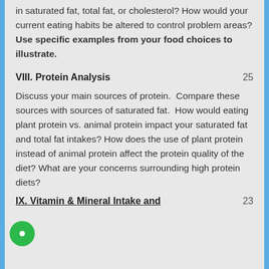in saturated fat, total fat, or cholesterol? How would your current eating habits be altered to control problem areas? Use specific examples from your food choices to illustrate.
VIII. Protein Analysis    25
Discuss your main sources of protein.  Compare these sources with sources of saturated fat.  How would eating plant protein vs. animal protein impact your saturated fat and total fat intakes? How does the use of plant protein instead of animal protein affect the protein quality of the diet? What are your concerns surrounding high protein diets?
IX. Vitamin & Mineral Intake and    23